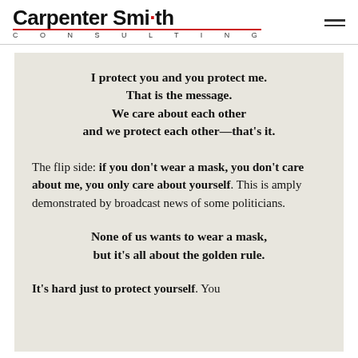Carpenter Smith CONSULTING
I protect you and you protect me. That is the message. We care about each other and we protect each other—that's it.
The flip side: if you don't wear a mask, you don't care about me, you only care about yourself. This is amply demonstrated by broadcast news of some politicians.
None of us wants to wear a mask, but it's all about the golden rule.
It's hard just to protect yourself. You